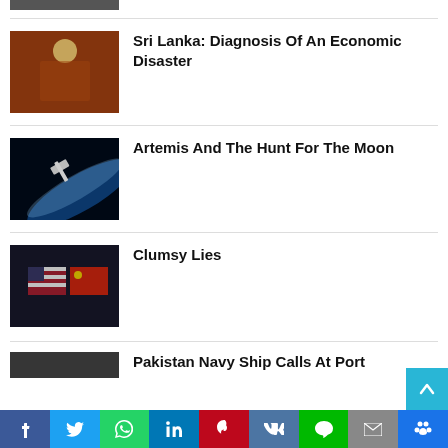[Figure (photo): Partial image at top of page, cropped]
Sri Lanka: Diagnosis Of An Economic Disaster
[Figure (photo): Photo of a colorful scene related to Sri Lanka economic crisis]
Artemis And The Hunt For The Moon
[Figure (photo): Photo of spacecraft in space with blue light beams]
Clumsy Lies
[Figure (photo): Photo showing US and Chinese flags side by side]
Pakistan Navy Ship Calls At Port
[Figure (photo): Partial photo at bottom for Pakistan Navy story]